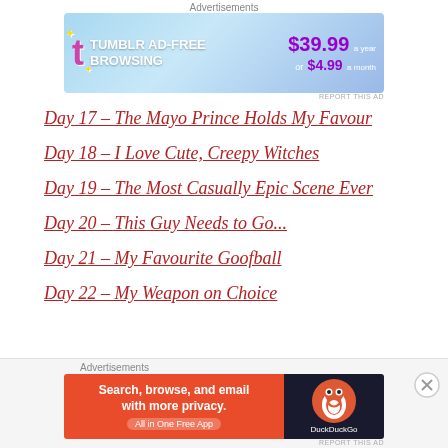Advertisements
[Figure (screenshot): Tumblr Ad-Free Browsing advertisement banner. $39.99 a year or $4.99 a month.]
REPORT THIS AD
Day 17 – The Mayo Prince Holds My Favour
Day 18 – I Love Cute, Creepy Witches
Day 19 – The Most Casually Epic Scene Ever
Day 20 – This Guy Needs to Go...
Day 21 – My Favourite Goofball
Day 22 – My Weapon on Choice
Advertisements
[Figure (screenshot): DuckDuckGo advertisement. Search, browse, and email with more privacy. All in One Free App.]
REPORT THIS AD